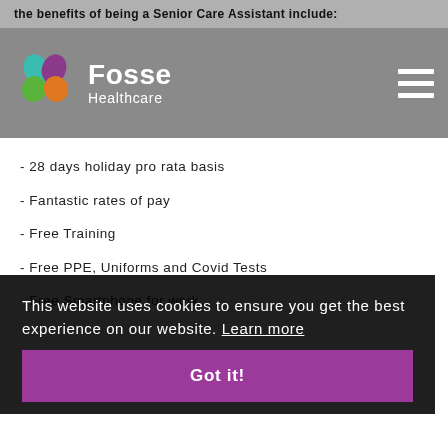the benefits of being a Senior Care Assistant include:
[Figure (logo): Fosse Healthcare logo with colourful leaf/petal icon and white text on grey background]
- 28 days holiday pro rata basis
- Fantastic rates of pay
- Free Training
- Free PPE, Uniforms and Covid Tests
- Free Smartphone for work
This website uses cookies to ensure you get the best experience on our website. Learn more
Got it!